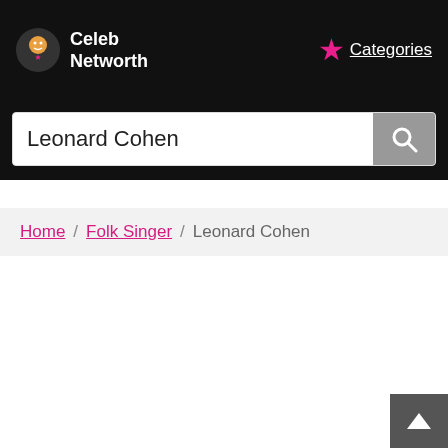Celeb Networth | Categories
Leonard Cohen
Home / Folk Singer / Leonard Cohen
Back to top